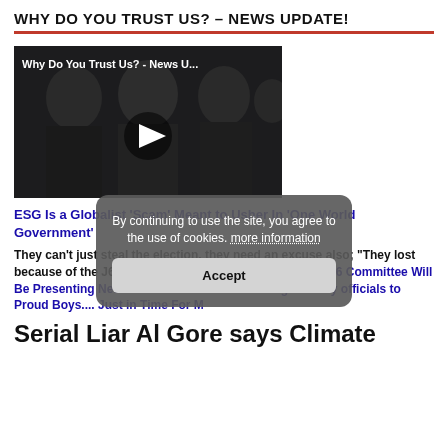WHY DO YOU TRUST US? – NEWS UPDATE!
[Figure (screenshot): Video thumbnail showing political figures with title 'Why Do You Trust Us? - News U...' and a play button overlay]
ESG Is a Globalist 'Scam' Meant to Usher In 'One World Government'
They can't just steal the election, they need an excuse also; "They lost because of the J6 investigation" BS!: Schiff Claims Jan. 6 Committee Will Be Presenting New Evidence "This Fall" Linking January officials to Proud Boys.... Just in Time For M
By continuing to use the site, you agree to the use of cookies. more information Accept
Serial Liar Al Gore says Climate